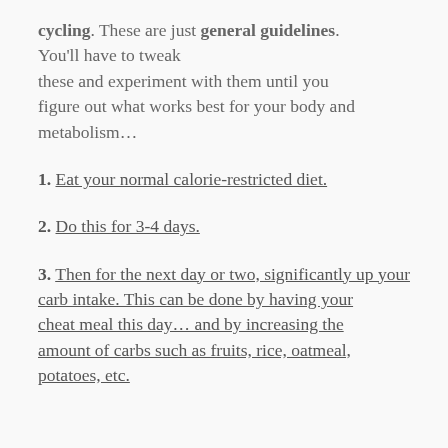cycling. These are just general guidelines. You'll have to tweak these and experiment with them until you figure out what works best for your body and metabolism...
1. Eat your normal calorie-restricted diet.
2. Do this for 3-4 days.
3. Then for the next day or two, significantly up your carb intake. This can be done by having your cheat meal this day... and by increasing the amount of carbs such as fruits, rice, oatmeal, potatoes, etc.